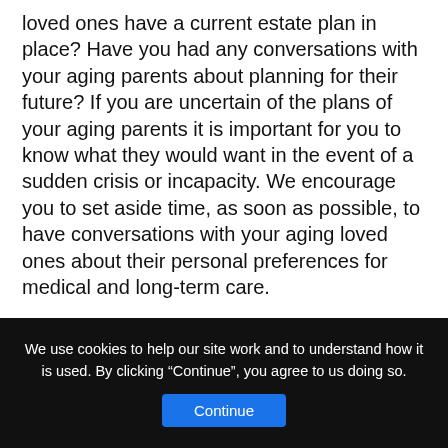loved ones have a current estate plan in place? Have you had any conversations with your aging parents about planning for their future? If you are uncertain of the plans of your aging parents it is important for you to know what they would want in the event of a sudden crisis or incapacity. We encourage you to set aside time, as soon as possible, to have conversations with your aging loved ones about their personal preferences for medical and long-term care.
Are you having a difficult time starting the conversation with your parents about their plans for their future healthcare? You could begin your conversation with these questions.
Do you have someone you trust to make medical decisions on your behalf?
Do you have someone you absolutely DO NOT want to make decisions for you?
We use cookies to help our site work and to understand how it is used. By clicking “Continue”, you agree to us doing so.